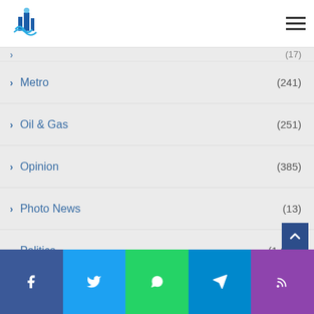[Figure (logo): Blue building/droplet logo with Arabic text underneath]
Metro (241)
Oil & Gas (251)
Opinion (385)
Photo News (13)
Politics (1,670)
Social Service (1)
Sports (127)
The Environment (52)
Facebook | Twitter | WhatsApp | Telegram | RSS